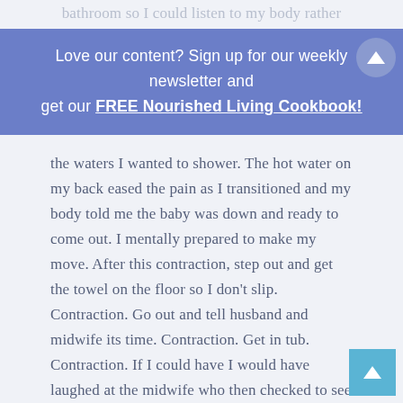bathroom so I could listen to my body rather
Love our content? Sign up for our weekly newsletter and get our FREE Nourished Living Cookbook!
the waters I wanted to shower. The hot water on my back eased the pain as I transitioned and my body told me the baby was down and ready to come out. I mentally prepared to make my move. After this contraction, step out and get the towel on the floor so I don't slip. Contraction. Go out and tell husband and midwife its time. Contraction. Get in tub. Contraction. If I could have I would have laughed at the midwife who then checked to see I was fully dilated and announced I was right and could push. Three painful pushes and we had our daughter in our arms. I simply love that in trusting my body I
could hear and follow fearlessly. I am now in my third trimester with baby #2 and feel even more